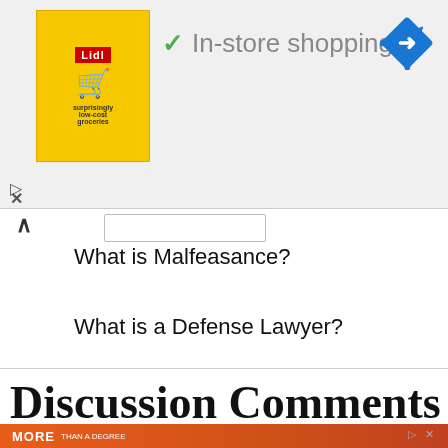[Figure (screenshot): Lidl grocery store ad with 'In-store shopping' checkmark and navigation arrow icon]
What is Malfeasance?
What is a Defense Lawyer?
Discussion Comments
[Figure (photo): Orange ad banner with 'MORE THAN A DEGREE' text and person wearing mask with RAISE shirt]